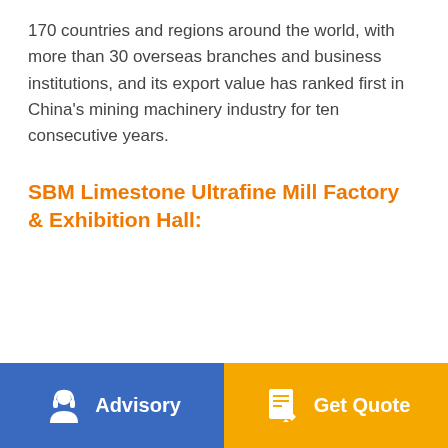170 countries and regions around the world, with more than 30 overseas branches and business institutions, and its export value has ranked first in China's mining machinery industry for ten consecutive years.
SBM Limestone Ultrafine Mill Factory & Exhibition Hall:
[Figure (other): Footer bar with two buttons: Advisory (blue background, person/headset icon) and Get Quote (orange background, document/edit icon)]